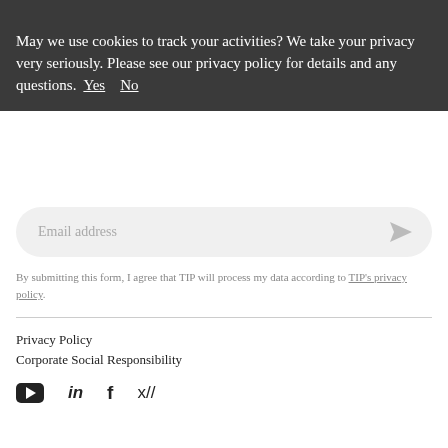Modern Slavery Statement
About TIP
Contact us
May we use cookies to track your activities? We take your privacy very seriously. Please see our privacy policy for details and any questions. Yes  No
[Figure (other): Email address input field with send icon]
By submitting this form, I agree that TIP will process my data according to TIP's privacy policy.
Privacy Policy
Corporate Social Responsibility
[Figure (other): Social media icons: YouTube, LinkedIn, Facebook, Twitter]